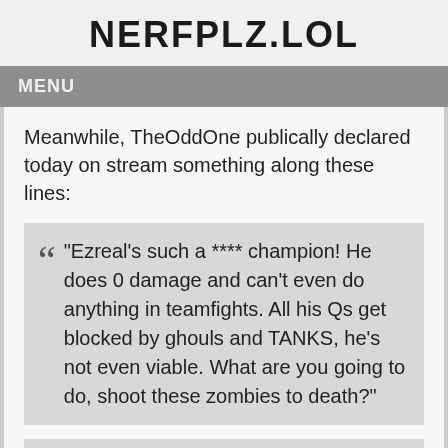NERFPLZ.LOL
MENU
Meanwhile, TheOddOne publically declared today on stream something along these lines:
"Ezreal's such a **** champion! He does 0 damage and can't even do anything in teamfights. All his Qs get blocked by ghouls and TANKS, he's not even viable. What are you going to do, shoot these zombies to death?"
"TeddyRO's trying to prove something by playing Ezreal. All he's proving is that